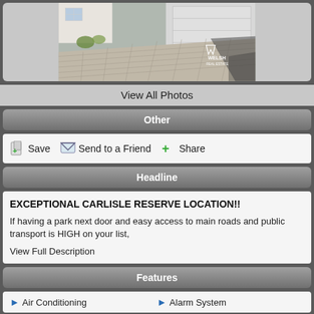[Figure (photo): Exterior driveway photo of a home with paver brick driveway leading to a white garage door, with Welsh Real Estate logo watermark in bottom right corner.]
View All Photos
Other
Save   Send to a Friend   Share
Headline
EXCEPTIONAL CARLISLE RESERVE LOCATION!!
If having a park next door and easy access to main roads and public transport is HIGH on your list,
View Full Description
Features
Air Conditioning
Alarm System